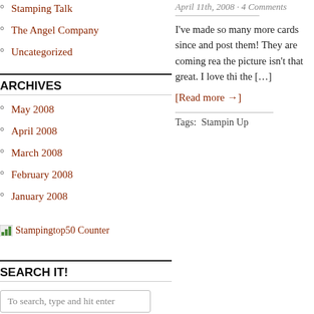Stamping Talk
The Angel Company
Uncategorized
ARCHIVES
May 2008
April 2008
March 2008
February 2008
January 2008
Stampingtop50 Counter
SEARCH IT!
To search, type and hit enter
April 11th, 2008 · 4 Comments
I've made so many more cards since and post them! They are coming rea the picture isn't that great. I love thi the […]
[Read more →]
Tags:  Stampin Up